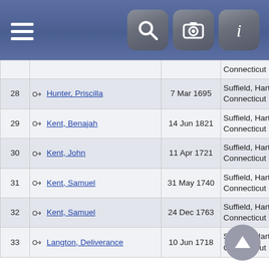Navigation header with menu, search, camera, and info icons
| # | Name | Date | Place | ID |
| --- | --- | --- | --- | --- |
|  |  |  | Connecticut |  |
| 28 | Hunter, Priscilla | 7 Mar 1695 | Suffield, Hartford, Connecticut | I14699 |
| 29 | Kent, Benajah | 14 Jun 1821 | Suffield, Hartford, Connecticut | I14692 |
| 30 | Kent, John | 11 Apr 1721 | Suffield, Hartford, Connecticut | I14766 |
| 31 | Kent, Samuel | 31 May 1740 | Suffield, Hartford, Connecticut | I14698 |
| 32 | Kent, Samuel | 24 Dec 1763 | Suffield, Hartford, Connecticut | I14696 |
| 33 | Langton, Deliverance | 10 Jun 1718 | Suffield, Hartford, Connecticut | I14728 |